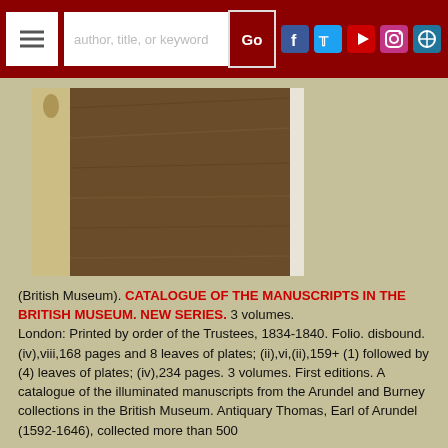Oak Knoll Books navigation bar with search and social media icons
[Figure (photo): A disbound historical book showing its spine and wooden boards, standing upright against a white background. Watermark reads OAK KNOLL.]
(British Museum). CATALOGUE OF THE MANUSCRIPTS IN THE BRITISH MUSEUM. NEW SERIES. 3 volumes. London: Printed by order of the Trustees, 1834-1840. Folio. disbound. (iv),viii,168 pages and 8 leaves of plates; (ii),vi,(ii),159+(1) followed by (4) leaves of plates; (iv),234 pages. 3 volumes. First editions. A catalogue of the illuminated manuscripts from the Arundel and Burney collections in the British Museum. Antiquary Thomas, Earl of Arundel (1592-1646), collected more than 500